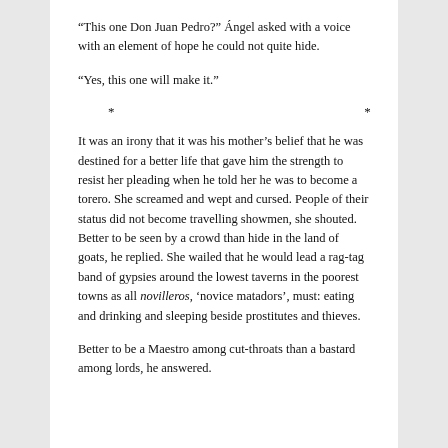“This one Don Juan Pedro?” Ángel asked with a voice with an element of hope he could not quite hide.
“Yes, this one will make it.”
* * *
It was an irony that it was his mother’s belief that he was destined for a better life that gave him the strength to resist her pleading when he told her he was to become a torero. She screamed and wept and cursed. People of their status did not become travelling showmen, she shouted. Better to be seen by a crowd than hide in the land of goats, he replied. She wailed that he would lead a rag-tag band of gypsies around the lowest taverns in the poorest towns as all novilleros, ‘novice matadors’, must: eating and drinking and sleeping beside prostitutes and thieves.
Better to be a Maestro among cut-throats than a bastard among lords, he answered.